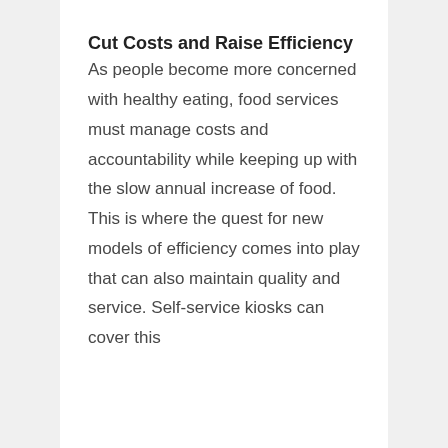Cut Costs and Raise Efficiency
As people become more concerned with healthy eating, food services must manage costs and accountability while keeping up with the slow annual increase of food. This is where the quest for new models of efficiency comes into play that can also maintain quality and service. Self-service kiosks can cover this